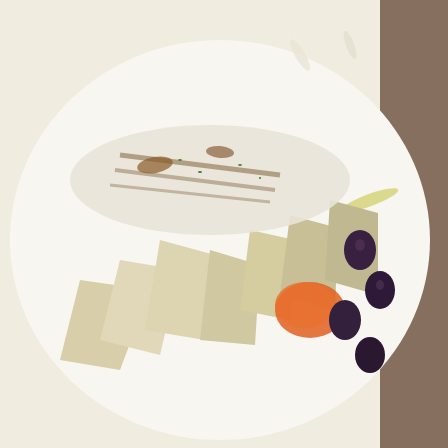[Figure (photo): A plate of grilled branzino (Mediterranean sea bass) with artichokes, fennel, tomatoes, olives, and white wine sauce on a white plate]
branzino
Next came a refreshing course of branzino.  the grilled Mediterranean sea bass was served with a tasty melody of artichokes, fennel, tomatoes and white wine.
[Figure (photo): A plate of grilled lamb chop with chimichurri sauce, roasted tomato sauce, polenta, red peppers, and vegetables on a white plate]